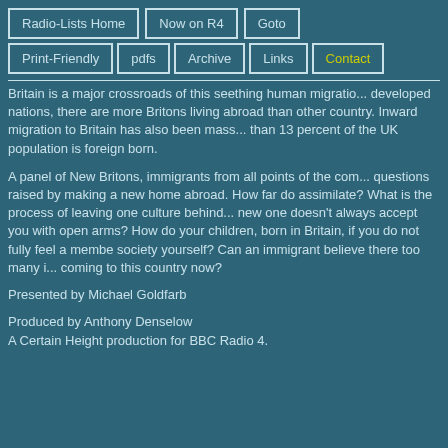Radio-Lists Home | Now on R4 | Goto | Print-Friendly | pdfs | Archive | Links | Contact
Britain is a major crossroads of this seething human migration... developed nations, there are more Britons living abroad than other country. Inward migration to Britain has also been mass... than 13 percent of the UK population is foreign born.
A panel of New Britons, immigrants from all points of the com... questions raised by making a new home abroad. How far do assimilate? What is the process of leaving one culture behind... new one doesn't always accept you with open arms? How do your children, born in Britain, if you do not fully feel a membe society yourself? Can an immigrant believe there too many i... coming to this country now?
Presented by Michael Goldfarb
Produced by Anthony Denselow
A Certain Height production for BBC Radio 4.